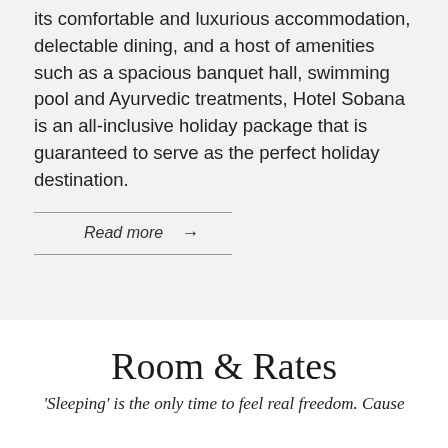its comfortable and luxurious accommodation, delectable dining, and a host of amenities such as a spacious banquet hall, swimming pool and Ayurvedic treatments, Hotel Sobana is an all-inclusive holiday package that is guaranteed to serve as the perfect holiday destination.
Read more →
Room & Rates
'Sleeping' is the only time to feel real freedom. Cause